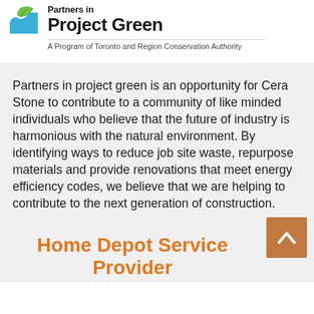[Figure (logo): Partners in Project Green logo with leaf and wave icon, partial title visible at top]
A Program of Toronto and Region Conservation Authority
Partners in project green is an opportunity for Cera Stone to contribute to a community of like minded individuals who believe that the future of industry is harmonious with the natural environment. By identifying ways to reduce job site waste, repurpose materials and provide renovations that meet energy efficiency codes, we believe that we are helping to contribute to the next generation of construction.
Home Depot Service Provider